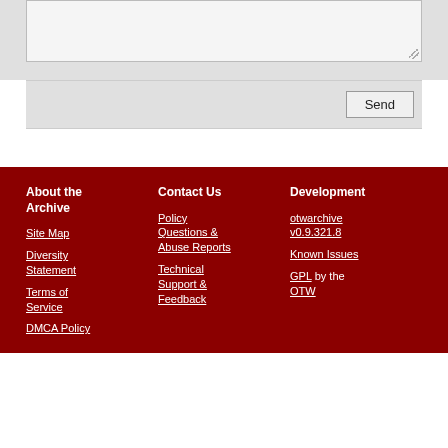[textarea input area]
Send [button]
About the Archive
Site Map
Diversity Statement
Terms of Service
DMCA Policy
Contact Us
Policy Questions & Abuse Reports
Technical Support & Feedback
Development
otwarchive v0.9.321.8
Known Issues
GPL by the OTW